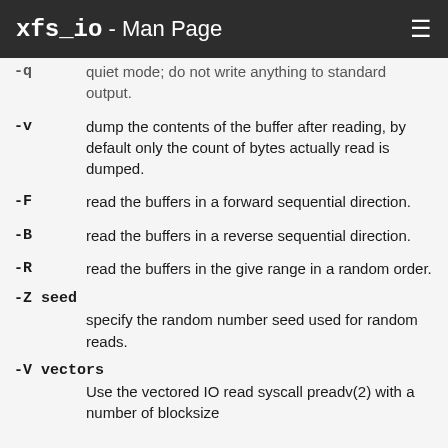xfs_io - Man Page
-q	quiet mode; do not write anything to standard output.
-v	dump the contents of the buffer after reading, by default only the count of bytes actually read is dumped.
-F	read the buffers in a forward sequential direction.
-B	read the buffers in a reverse sequential direction.
-R	read the buffers in the give range in a random order.
-Z seed	specify the random number seed used for random reads.
-V vectors	Use the vectored IO read syscall preadv(2) with a number of blocksize